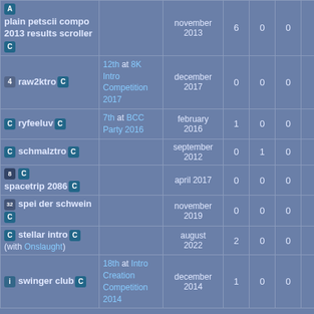| Name | Place | Date | # | # | # | Score | Bar |
| --- | --- | --- | --- | --- | --- | --- | --- |
| plain petscii compo 2013 results scroller |  | november 2013 | 6 | 0 | 0 | 👍 1.00 | bar |
| raw2ktro | 12th at 8K Intro Competition 2017 | december 2017 | 0 | 0 | 0 | 🐷 0.00 | bar |
| ryfeeluv | 7th at BCC Party 2016 | february 2016 | 1 | 0 | 0 | 👍 1.00 | bar |
| schmalztro |  | september 2012 | 0 | 1 | 0 | 🐷 0.00 | thin-bar |
| spacetrip 2086 |  | april 2017 | 0 | 0 | 0 | 🐷 0.00 | thin-bar |
| spei der schwein |  | november 2019 | 0 | 0 | 0 | 🐷 0.00 | bar |
| stellar intro (with Onslaught) |  | august 2022 | 2 | 0 | 0 | 👍 1.00 | bar |
| swinger club | 18th at Intro Creation Competition 2014 | december 2014 | 1 | 0 | 0 | 👍 1.00 | thin-bar |